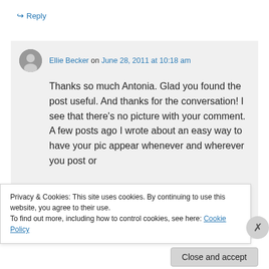↪ Reply
Ellie Becker on June 28, 2011 at 10:18 am
Thanks so much Antonia. Glad you found the post useful. And thanks for the conversation! I see that there's no picture with your comment. A few posts ago I wrote about an easy way to have your pic appear whenever and wherever you post or
Privacy & Cookies: This site uses cookies. By continuing to use this website, you agree to their use.
To find out more, including how to control cookies, see here: Cookie Policy
Close and accept